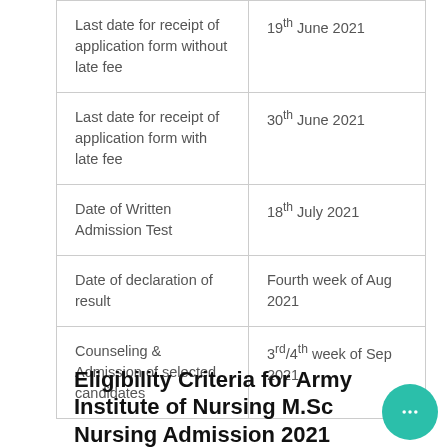| Event | Date |
| --- | --- |
| Last date for receipt of application form without late fee | 19th June 2021 |
| Last date for receipt of application form with late fee | 30th June 2021 |
| Date of Written Admission Test | 18th July 2021 |
| Date of declaration of result | Fourth week of Aug 2021 |
| Counseling & Admission of selected candidates | 3rd/4th week of Sep 2021 |
Eligibility Criteria for Army Institute of Nursing M.Sc Nursing Admission 2021